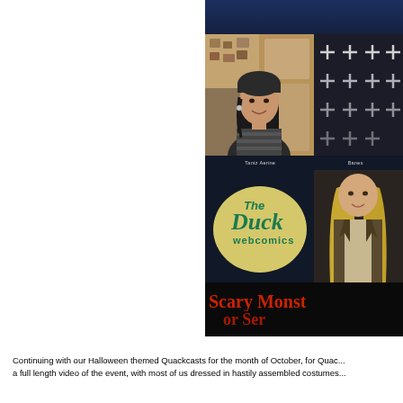[Figure (screenshot): Screenshot of a webcast/video interface showing The Duck Webcomics Quackcast. Top section shows two video tiles: a woman with dark hair in a beanie (labeled 'Tantz Aerine') and a cross/plus pattern tile (labeled 'Banes'). Middle section shows The Duck Webcomics logo on the left and a person in costume on the right. Bottom of the screenshot shows text 'Scary Monst... or Ser...' in red on black background.]
Continuing with our Halloween themed Quackcasts for the month of October, for Quac... a full length video of the event, with most of us dressed in hastily assembled costumes...